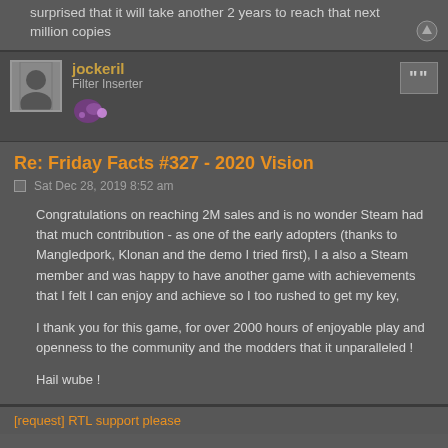surprised that it will take another 2 years to reach that next million copies
jockeril
Filter Inserter
Re: Friday Facts #327 - 2020 Vision
Sat Dec 28, 2019 8:52 am
Congratulations on reaching 2M sales and is no wonder Steam had that much contribution - as one of the early adopters (thanks to Mangledpork, Klonan and the demo I tried first), I a also a Steam member and was happy to have another game with achievements that I felt I can enjoy and achieve so I too rushed to get my key,

I thank you for this game, for over 2000 hours of enjoyable play and openness to the community and the modders that it unparalleled !

Hail wube !
[request] RTL support please